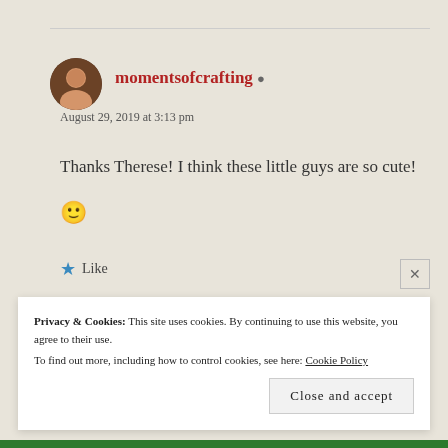momentsofcrafting
August 29, 2019 at 3:13 pm
Thanks Therese! I think these little guys are so cute! 🙂
Like
Reply
Privacy & Cookies: This site uses cookies. By continuing to use this website, you agree to their use.
To find out more, including how to control cookies, see here: Cookie Policy
Close and accept